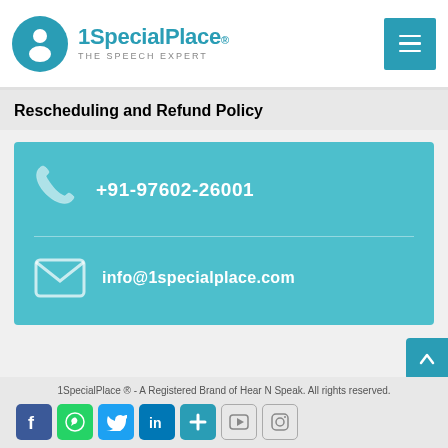1SpecialPlace® THE SPEECH EXPERT
Rescheduling and Refund Policy
[Figure (infographic): Teal contact card showing phone number +91-97602-26001 with phone icon, a horizontal divider, and email info@1specialplace.com with envelope icon]
1SpecialPlace ® - A Registered Brand of Hear N Speak. All rights reserved.